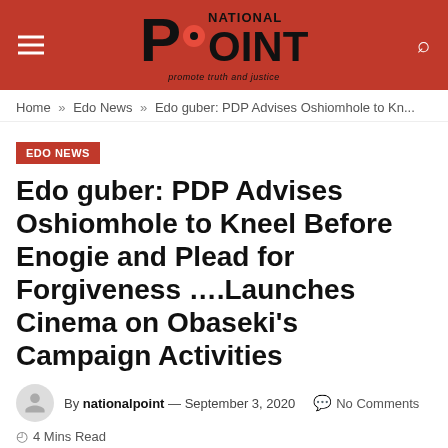National Point — promote truth and justice
Home » Edo News » Edo guber: PDP Advises Oshiomhole to Kn...
EDO NEWS
Edo guber: PDP Advises Oshiomhole to Kneel Before Enogie and Plead for Forgiveness ....Launches Cinema on Obaseki's Campaign Activities
By nationalpoint — September 3, 2020  No Comments
4 Mins Read